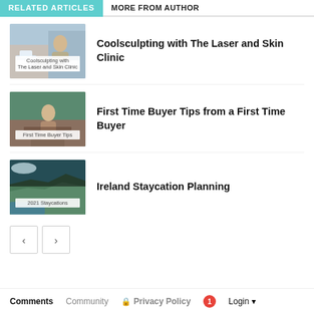RELATED ARTICLES
MORE FROM AUTHOR
[Figure (photo): Thumbnail image for Coolsculpting article with woman and clinic equipment, overlay label 'Coolsculpting with The Laser and Skin Clinic']
Coolsculpting with The Laser and Skin Clinic
[Figure (photo): Thumbnail image for First Time Buyer Tips article with woman outdoors, overlay label 'First Time Buyer Tips']
First Time Buyer Tips from a First Time Buyer
[Figure (photo): Thumbnail image for Ireland Staycation Planning with coastal cliffs, overlay label '2021 Staycations']
Ireland Staycation Planning
Comments  Community  Privacy Policy  1  Login